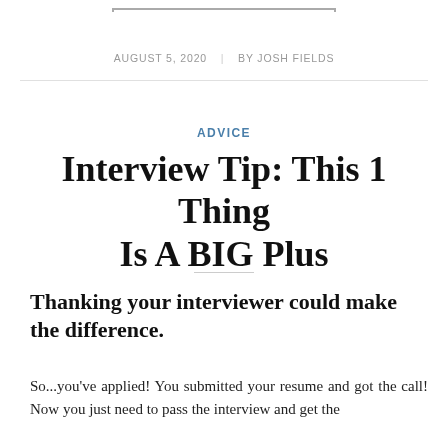AUGUST 5, 2020  |  BY JOSH FIELDS
ADVICE
Interview Tip: This 1 Thing Is A BIG Plus
Thanking your interviewer could make the difference.
So...you've applied! You submitted your resume and got the call! Now you just need to pass the interview and get the job. Taking a moment for